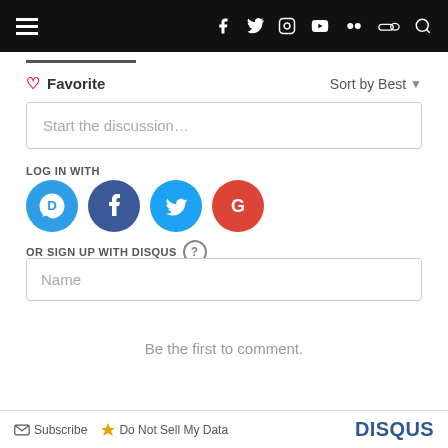Navigation bar with hamburger menu and social/search icons
Favorite   Sort by Best
Start the discussion…
LOG IN WITH
[Figure (other): Social login icons: Disqus (blue), Facebook (dark blue), Twitter (light blue), Google (red)]
OR SIGN UP WITH DISQUS ?
Name
Be the first to comment.
Subscribe   Do Not Sell My Data   DISQUS